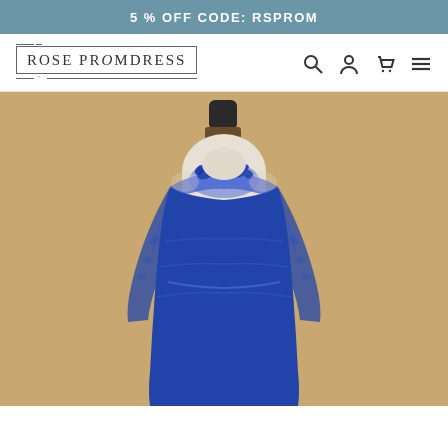5 % OFF CODE: RSPROM
[Figure (logo): Rose Promdress logo with decorative border lines]
[Figure (photo): A royal blue lace long-sleeve dress displayed on a dress form/mannequin against a beige background. The dress features floral lace applique on the neckline and sheer long sleeves.]